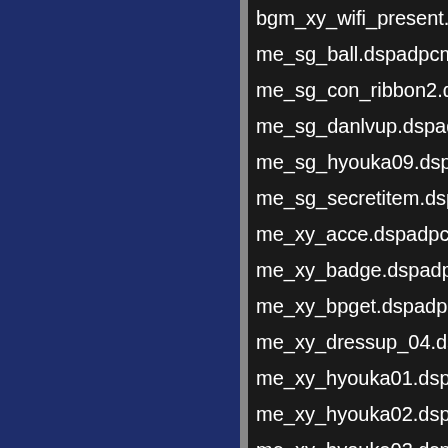[Figure (screenshot): Left panel: dark navy blue sidebar. Right panel: dark background file listing of .dspadpcm audio files.]
bgm_xy_wifi_present.ds...
me_sg_ball.dspadpcm
me_sg_con_ribbon2.dsp...
me_sg_danlvup.dspadpc...
me_sg_hyouka09.dspad...
me_sg_secretitem.dspad...
me_xy_acce.dspadpcm
me_xy_badge.dspadpcm...
me_xy_bpget.dspadpcm
me_xy_dressup_04.dspa...
me_xy_hyouka01.dspad...
me_xy_hyouka02.dspad...
me_xy_hyouka03.dspad...
me_xy_hyouka04.dspad...
me_xy_hyouka05.dspa...